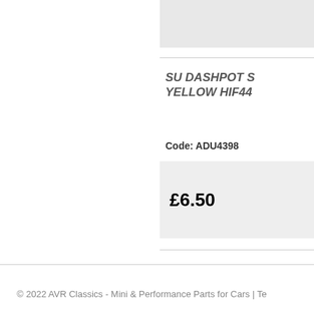[Figure (photo): Product image placeholder box (light gray)]
SU DASHPOT SPRING YELLOW HIF44
Code: ADU4398
£6.50
© 2022 AVR Classics - Mini & Performance Parts for Cars | Te